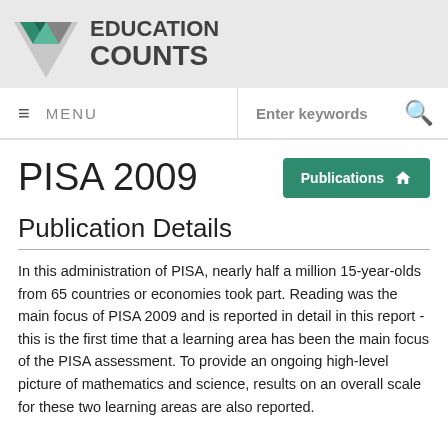EDUCATION COUNTS
MENU  Enter keywords
PISA 2009
Publication Details
In this administration of PISA, nearly half a million 15-year-olds from 65 countries or economies took part. Reading was the main focus of PISA 2009 and is reported in detail in this report - this is the first time that a learning area has been the main focus of the PISA assessment. To provide an ongoing high-level picture of mathematics and science, results on an overall scale for these two learning areas are also reported.